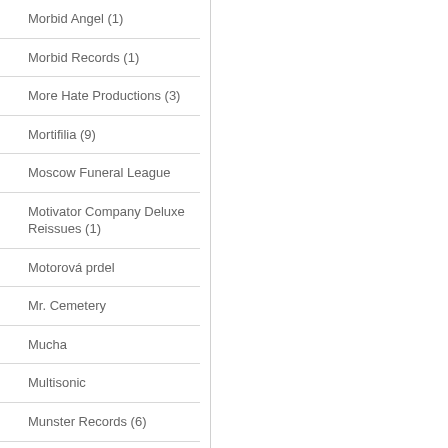Morbid Angel (1)
Morbid Records (1)
More Hate Productions (3)
Mortifilia (9)
Moscow Funeral League
Motivator Company Deluxe Reissues (1)
Motorová prdel
Mr. Cemetery
Mucha
Multisonic
Munster Records (6)
Murder The World Productions (2)
Music On Vinyl (5)
Muzikus (1)